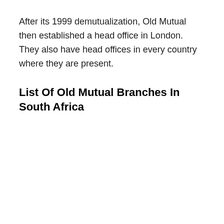After its 1999 demutualization, Old Mutual then established a head office in London. They also have head offices in every country where they are present.
List Of Old Mutual Branches In South Africa